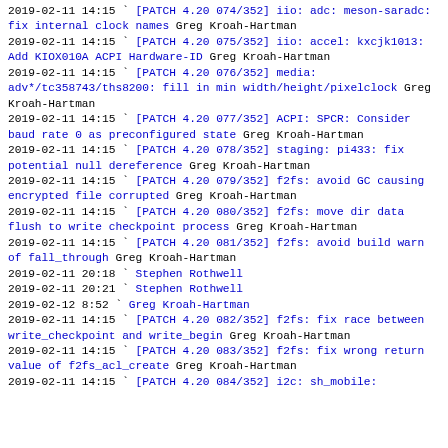2019-02-11 14:15 ` [PATCH 4.20 074/352] iio: adc: meson-saradc: fix internal clock names Greg Kroah-Hartman
2019-02-11 14:15 ` [PATCH 4.20 075/352] iio: accel: kxcjk1013: Add KIOX010A ACPI Hardware-ID Greg Kroah-Hartman
2019-02-11 14:15 ` [PATCH 4.20 076/352] media: adv*/tc358743/ths8200: fill in min width/height/pixelclock Greg Kroah-Hartman
2019-02-11 14:15 ` [PATCH 4.20 077/352] ACPI: SPCR: Consider baud rate 0 as preconfigured state Greg Kroah-Hartman
2019-02-11 14:15 ` [PATCH 4.20 078/352] staging: pi433: fix potential null dereference Greg Kroah-Hartman
2019-02-11 14:15 ` [PATCH 4.20 079/352] f2fs: avoid GC causing encrypted file corrupted Greg Kroah-Hartman
2019-02-11 14:15 ` [PATCH 4.20 080/352] f2fs: move dir data flush to write checkpoint process Greg Kroah-Hartman
2019-02-11 14:15 ` [PATCH 4.20 081/352] f2fs: avoid build warn of fall_through Greg Kroah-Hartman
2019-02-11 20:18   ` Stephen Rothwell
2019-02-11 20:21   ` Stephen Rothwell
2019-02-12  8:52     ` Greg Kroah-Hartman
2019-02-11 14:15 ` [PATCH 4.20 082/352] f2fs: fix race between write_checkpoint and write_begin Greg Kroah-Hartman
2019-02-11 14:15 ` [PATCH 4.20 083/352] f2fs: fix wrong return value of f2fs_acl_create Greg Kroah-Hartman
2019-02-11 14:15 ` [PATCH 4.20 084/352] i2c: sh_mobile: